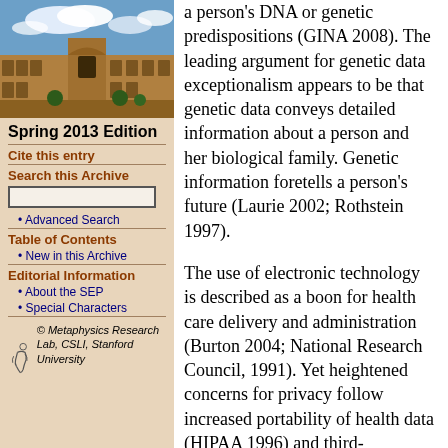[Figure (photo): Photo of a historic stone university building with courtyard and blue sky with clouds]
Spring 2013 Edition
Cite this entry
Search this Archive
Advanced Search
Table of Contents
New in this Archive
Editorial Information
About the SEP
Special Characters
[Figure (logo): Metaphysics Research Lab, CSLI, Stanford University logo with stylized figure]
a person's DNA or genetic predispositions (GINA 2008). The leading argument for genetic data exceptionalism appears to be that genetic data conveys detailed information about a person and her biological family. Genetic information foretells a person's future (Laurie 2002; Rothstein 1997).
The use of electronic technology is described as a boon for health care delivery and administration (Burton 2004; National Research Council, 1991). Yet heightened concerns for privacy follow increased portability of health data (HIPAA 1996) and third-